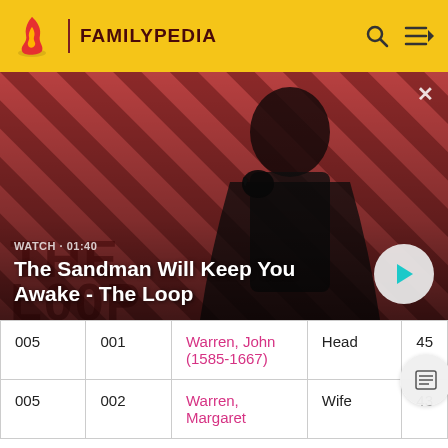FAMILYPEDIA
[Figure (screenshot): Hero banner for 'The Sandman Will Keep You Awake - The Loop' video with a dark-cloaked figure against a red diagonal-striped background. Overlaid watch label 'WATCH · 01:40' and a play button.]
WATCH · 01:40 — The Sandman Will Keep You Awake - The Loop
|  |  | Name | Role | Age |
| --- | --- | --- | --- | --- |
| 005 | 001 | Warren, John (1585-1667) | Head | 45 |
| 005 | 002 | Warren, Margaret | Wife | 43 |